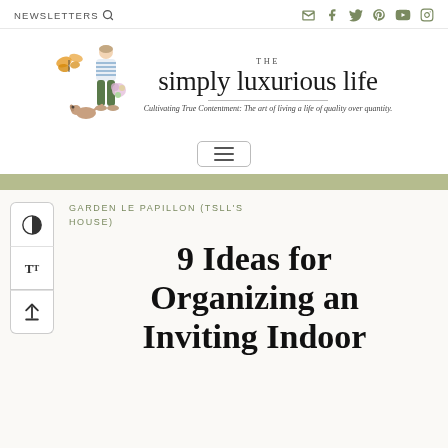NEWSLETTERS
[Figure (logo): The Simply Luxurious Life blog logo with illustrated woman holding flowers and a dog, butterfly, tagline: Cultivating True Contentment: The art of living a life of quality over quantity.]
GARDEN LE PAPILLON (TSLL'S HOUSE)
9 Ideas for Organizing an Inviting Indoor